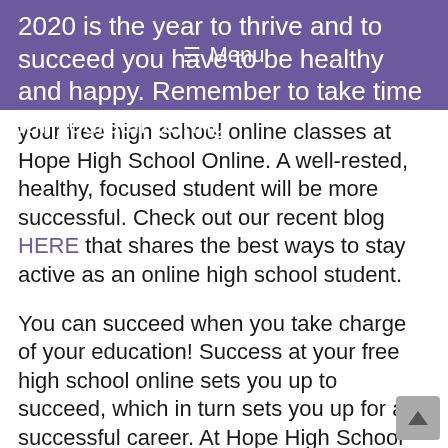☰ Menu
2020 is the year to thrive and to succeed you have to be healthy and happy. Remember to take time for yourself during your free high school online classes at Hope High School Online. A well-rested, healthy, focused student will be more successful. Check out our recent blog HERE that shares the best ways to stay active as an online high school student.
You can succeed when you take charge of your education! Success at your free high school online sets you up to succeed, which in turn sets you up for a successful career. At Hope High School Online, we are here to help equip you with the tools needed to succeed in high school and life. Your academic coach is a great person to share your goals with,